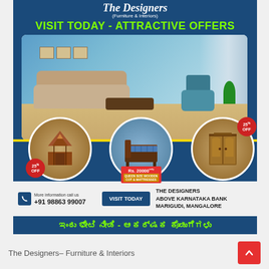[Figure (illustration): Advertisement for The Designers Furniture & Interiors showing a modern living room interior, three furniture product circles (mandir/temple, queen size wooden cot with mattress at Rs. 20000, and wardrobe), 25% OFF badges, contact information, address, visit today button, Kannada text banner, and logo.]
The Designers (Furniture & Interiors)
VISIT TODAY - ATTRACTIVE OFFERS
25% OFF
Rs. 20000 QUEEN SIZE WOODEN COT & MATTRESSES
25% OFF
More information call us +91 98863 99007
VISIT TODAY
THE DESIGNERS ABOVE KARNATAKA BANK MARIGUDI, MANGALORE
ಇಂದು ಭೇಟಿ ನೀಡಿ - ಆಕರ್ಷಕ ಕೊಡುಗೆಗಳು
The Designers– Furniture & Interiors